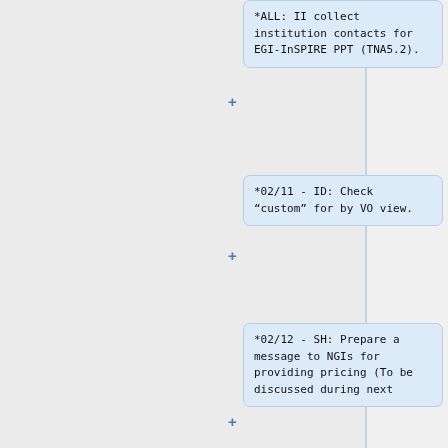*ALL: II collect institution contacts for EGI-InSPIRE PPT (TNA5.2).
*02/11 - ID: Check “custom” for by VO view.
*02/12 - SH: Prepare a message to NGIs for providing pricing (To be discussed during next